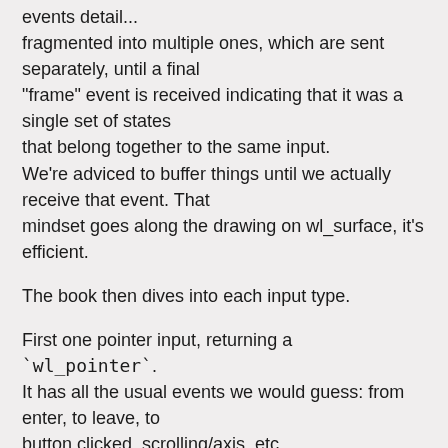events detail... fragmented into multiple ones, which are sent separately, until a final "frame" event is received indicating that it was a single set of states that belong together to the same input. We're adviced to buffer things until we actually receive that event. That mindset goes along the drawing on wl_surface, it's efficient.
The book then dives into each input type.
First one pointer input, returning a `wl_pointer`. It has all the usual events we would guess: from enter, to leave, to button clicked, scrolling/axis, etc.. We can notice the serial id being included. We can create a cursor for the pointing device using the request set_cursor and passing a surface. It's interesting how the axis source is well-defined.